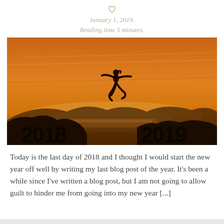January 1, 2019.
Reading time 5 minutes.
[Figure (photo): Silhouette of a person leaping from a rock formation labeled '2018' to another labeled '2019' against an orange sunset sky]
Today is the last day of 2018 and I thought I would start the new year off well by writing my last blog post of the year. It’s been a while since I’ve written a blog post, but I am not going to allow guilt to hinder me from going into my new year [...]